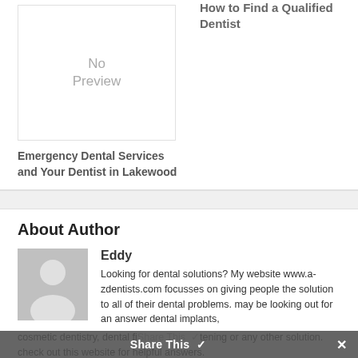How to Find a Qualified Dentist
[Figure (other): No Preview placeholder image box]
Emergency Dental Services and Your Dentist in Lakewood
About Author
[Figure (photo): Generic author avatar silhouette placeholder image]
Eddy
Looking for dental solutions? My website www.a-zdentists.com focusses on giving people the solution to all of their dental problems. may be looking out for an answer dental implants, cosmetic dentistry, dental fillings, teeth whitening or any other solution. check out this website for helpful answers.
Share This